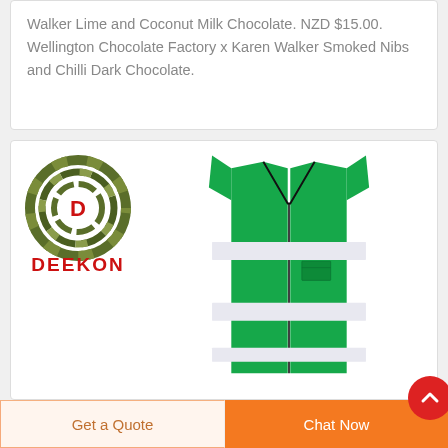Walker Lime and Coconut Milk Chocolate. NZD $15.00. Wellington Chocolate Factory x Karen Walker Smoked Nibs and Chilli Dark Chocolate.
[Figure (logo): DEEKON brand logo with circular target/bullseye icon in green camouflage pattern with red letter D in center, and DEEKON text in red bold letters below]
[Figure (photo): Green high-visibility safety vest with white reflective stripes and a zipper in the front, shown on white background]
Get a Quote
Chat Now